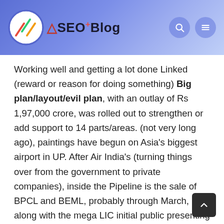A SEO+ Blog
Working well and getting a lot done Linked (reward or reason for doing something) Big plan/layout/evil plan, with an outlay of Rs 1,97,000 crore, was rolled out to strengthen or add support to 14 parts/areas. (not very long ago), paintings have begun on Asia's biggest airport in UP. After Air India's (turning things over from the government to private companies), inside the Pipeline is the sale of BPCL and BEML, probably through March, along with the mega LIC initial public presenting expected to list early later 12 months.
India's National (essential equipment needed for a business or society to operate) Pipeline at $1.5 trillion is even more high-reaching than what is being done/tried